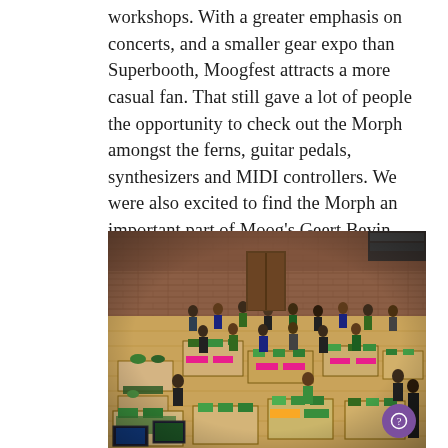workshops. With a greater emphasis on concerts, and a smaller gear expo than Superbooth, Moogfest attracts a more casual fan. That still gave a lot of people the opportunity to check out the Morph amongst the ferns, guitar pedals, synthesizers and MIDI controllers. We were also excited to find the Morph an important part of Moog's Geert Bevin preset the Morph as an important part in a Mobile Music setup!
[Figure (photo): Aerial/overhead view of a gear expo / music festival floor inside a large hall with brick walls and wooden floors. Many attendees browse tables and displays featuring synthesizers, MIDI controllers, guitar pedals, and potted plants. The scene is from Moogfest.]